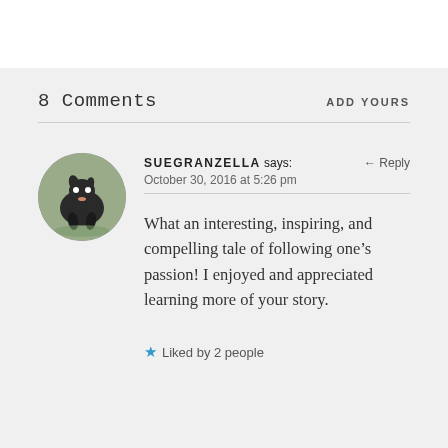8 Comments
ADD YOURS
SUEGRANZELLA says:
October 30, 2016 at 5:26 pm
What an interesting, inspiring, and compelling tale of following one’s passion! I enjoyed and appreciated learning more of your story.
★ Liked by 2 people